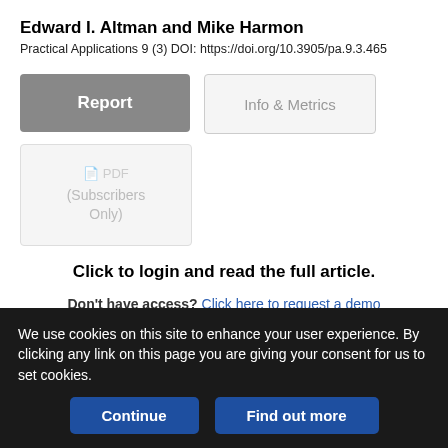Edward I. Altman and Mike Harmon
Practical Applications 9 (3) DOI: https://doi.org/10.3905/pa.9.3.465
Report | Info & Metrics
PDF (Subscribers Only)
Click to login and read the full article.
Don't have access? Click here to request a demo
Alternatively, Call a member of the team to discuss membership options
We use cookies on this site to enhance your user experience. By clicking any link on this page you are giving your consent for us to set cookies.
Continue | Find out more